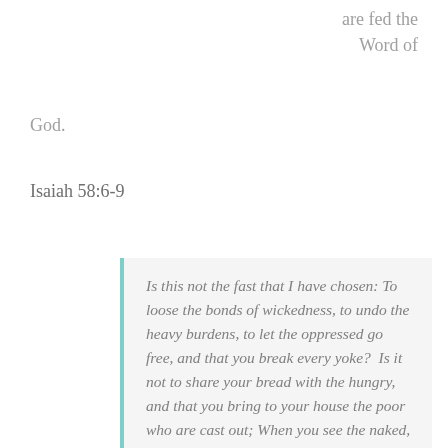are fed the Word of
God.
Isaiah 58:6-9
Is this not the fast that I have chosen: To loose the bonds of wickedness, to undo the heavy burdens, to let the oppressed go free, and that you break every yoke?  Is it not to share your bread with the hungry, and that you bring to your house the poor who are cast out; When you see the naked, that you cover him, and not hide yourself from your own flesh?
Then your light shall break forth like the morning, your healing shall spring forth speedily, and your righteousness shall go before you; the glory of the Lord shall be